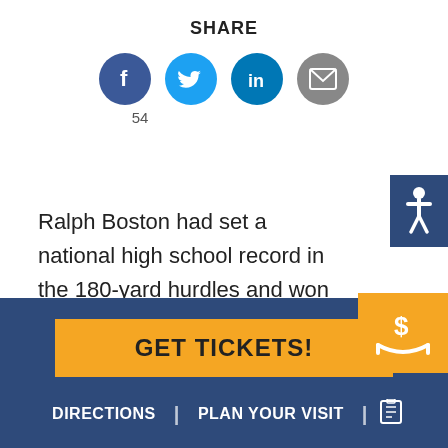SHARE
[Figure (infographic): Social share buttons: Facebook (54 shares), Twitter, LinkedIn, Email]
Ralph Boston had set a national high school record in the 180-yard hurdles and won an NCAA championship in the long jump, but as of August 1960 he was still a relatively unheralded athlete from a small Mississippi town — even though he
GET TICKETS!
DIRECTIONS | PLAN YOUR VISIT